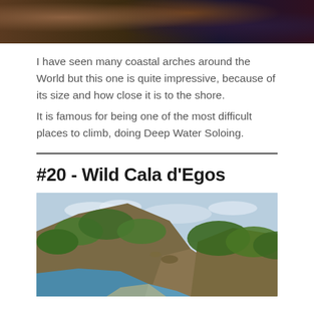[Figure (photo): Top portion of a rocky coastal cliff photo, showing dark reddish-brown rocks and dark water below]
I have seen many coastal arches around the World but this one is quite impressive, because of its size and how close it is to the shore.
It is famous for being one of the most difficult places to climb, doing Deep Water Soloing.
#20 - Wild Cala d'Egos
[Figure (photo): Landscape photo of Wild Cala d'Egos showing a rocky forested hillside, a small island in the distance, and blue sea water in a cove below]